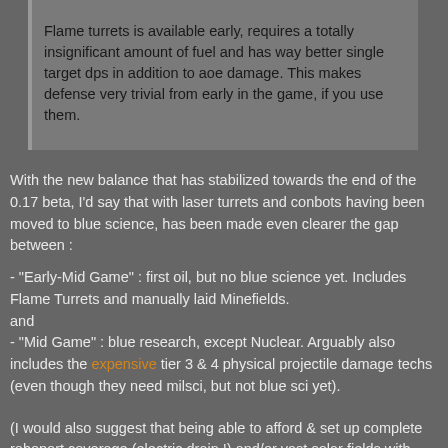Flame turrets is available early, requires a totally insignificant amount of fuel and has way better single target dps in addition to aoe damage. This makes defense very trivial from early in the game, if you use them.
With the new balance that has stabilized towards the end of the 0.17 beta, I'd say that with laser turrets and conbots having been moved to blue science, has been made even clearer the gap between :
- "Early-Mid Game" : first oil, but no blue science yet. Includes Flame Turrets and manually laid Minefields. and
- "Mid Game" : blue research, except Nuclear. Arguably also includes the expensive tier 3 & 4 physical projectile damage techs (even though they need milsci, but not blue sci yet).
(I would also suggest that being able to afford & set up complete roboport coverage (electric drain !) and/or vast solar fields with accumulator backups belongs to even later than this "Mid Game" phase, and so is indeed offtopic.)